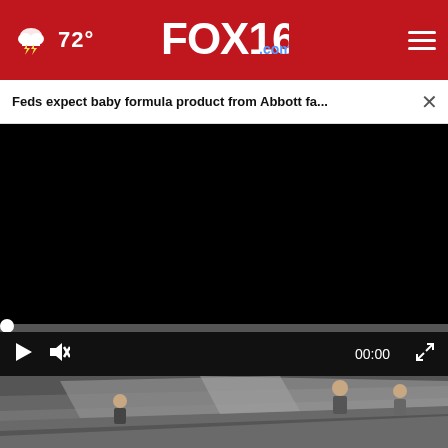FOX16.com — 72° weather header with navigation
Feds expect baby formula product from Abbott fa... ×
[Figure (screenshot): Black video player area with progress bar and controls showing play button, mute icon, 00:00 timestamp and fullscreen button]
[Figure (photo): Roofing workers on a sloped roof with grey tarpaulins, with an advertisement overlay for Wilson Real Estate Auctioneers: DON'T LEAVE MONEY ON THE TABLE! LEARN MORE]